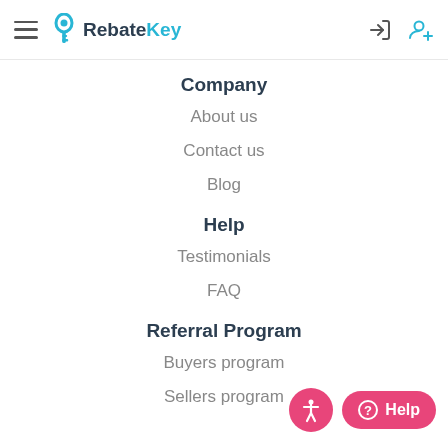RebateKey
Company
About us
Contact us
Blog
Help
Testimonials
FAQ
Referral Program
Buyers program
Sellers program